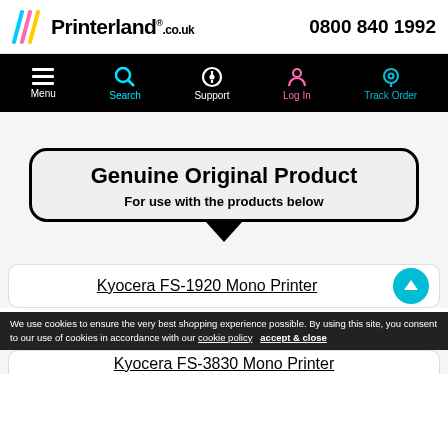Printerland.co.uk  0800 840 1992
[Figure (screenshot): Navigation bar with Menu, Search, Support, Log In, Track Order icons on black background]
Genuine Original Product
For use with the products below
Kyocera FS-1920 Mono Printer
We use cookies to ensure the very best shopping experience possible. By using this site, you consent to our use of cookies in accordance with our cookie policy   accept & close
Kyocera FS-3830 Mono Printer